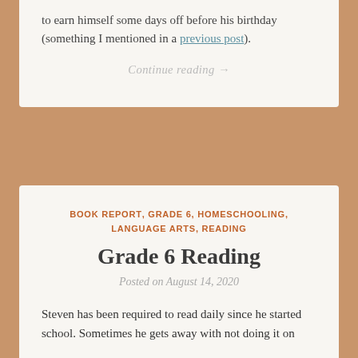to earn himself some days off before his birthday (something I mentioned in a previous post).
Continue reading →
BOOK REPORT, GRADE 6, HOMESCHOOLING, LANGUAGE ARTS, READING
Grade 6 Reading
Posted on August 14, 2020
Steven has been required to read daily since he started school. Sometimes he gets away with not doing it on